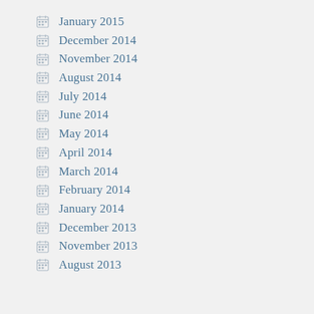January 2015
December 2014
November 2014
August 2014
July 2014
June 2014
May 2014
April 2014
March 2014
February 2014
January 2014
December 2013
November 2013
August 2013